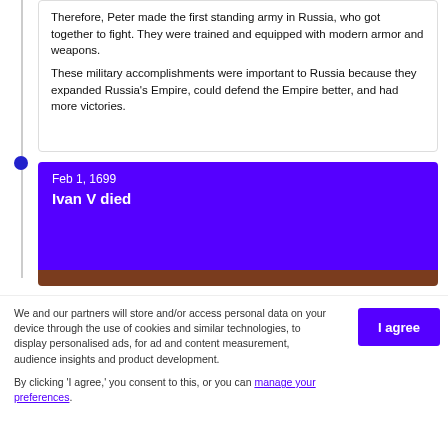Therefore, Peter made the first standing army in Russia, who got together to fight. They were trained and equipped with modern armor and weapons. These military accomplishments were important to Russia because they expanded Russia's Empire, could defend the Empire better, and had more victories.
Feb 1, 1699
Ivan V died
We and our partners will store and/or access personal data on your device through the use of cookies and similar technologies, to display personalised ads, for ad and content measurement, audience insights and product development.

By clicking 'I agree,' you consent to this, or you can manage your preferences.